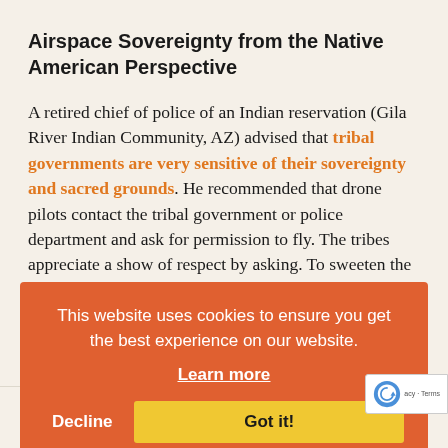Airspace Sovereignty from the Native American Perspective
A retired chief of police of an Indian reservation (Gila River Indian Community, AZ) advised that tribal governments are very sensitive of their sovereignty and sacred grounds. He recommended that drone pilots contact the tribal government or police department and ask for permission to fly. The tribes appreciate a show of respect by asking. To sweeten the deal, perhaps you
[Figure (screenshot): Cookie consent banner overlay with orange background. Text reads 'This website uses cookies to ensure you get the best experience on our website.' with a 'Learn more' underlined link, and two buttons: 'Decline' (text only) and 'Got it!' (yellow button). A reCAPTCHA badge is partially visible at the bottom right.]
want to be on the wrong side of a tribal LEO if you most